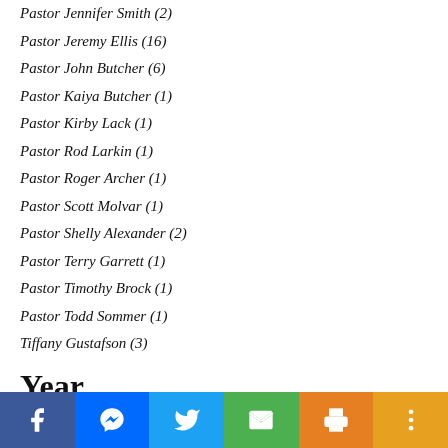Pastor Jennifer Smith (2)
Pastor Jeremy Ellis (16)
Pastor John Butcher (6)
Pastor Kaiya Butcher (1)
Pastor Kirby Lack (1)
Pastor Rod Larkin (1)
Pastor Roger Archer (1)
Pastor Scott Molvar (1)
Pastor Shelly Alexander (2)
Pastor Terry Garrett (1)
Pastor Timothy Brock (1)
Pastor Todd Sommer (1)
Tiffany Gustafson (3)
Year
2012 (32)
2013 (58)